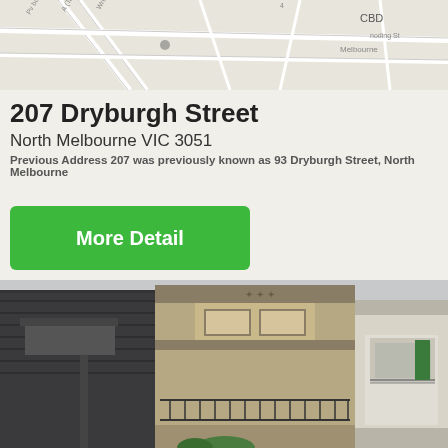[Figure (map): Street map showing location near North Melbourne CBD area with road labels]
207 Dryburgh Street
North Melbourne VIC 3051
Previous Address 207 was previously known as 93 Dryburgh Street, North Melbourne
[Figure (other): Green 'More Detail' button]
[Figure (photo): Exterior photo of 207 Dryburgh Street showing a two-storey building with balcony, adjacent to a modern dark brick building on the left and an older heritage building on the right]